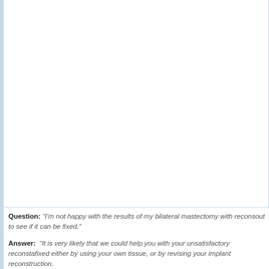[Figure (photo): Large white/blank image area occupying the upper portion of the page, representing a medical or clinical photograph related to bilateral mastectomy with reconstruction.]
Question: “I’m not happy with the results of my bilateral mastectomy with recons... out to see if it can be fixed.”
Answer: “It is very likely that we could help you with your unsatisfactory reconsta... fixed either by using your own tissue, or by revising your implant reconstruction.